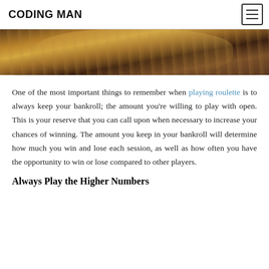CODING MAN
[Figure (photo): Close-up photo of a hand holding a fan of US dollar bills, cropped to show only the top portion]
One of the most important things to remember when playing roulette is to always keep your bankroll; the amount you're willing to play with open. This is your reserve that you can call upon when necessary to increase your chances of winning. The amount you keep in your bankroll will determine how much you win and lose each session, as well as how often you have the opportunity to win or lose compared to other players.
Always Play the Higher Numbers